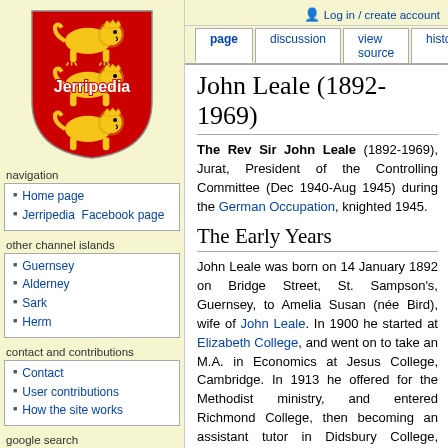[Figure (logo): Jerripedia logo: red shield with three golden lions, text 'Jerripedia' overlaid]
navigation
Home page
Jerripedia Facebook page
other channel islands
Guernsey
Alderney
Sark
Herm
contact and contributions
Contact
User contributions
How the site works
google search
Log in / create account
John Leale (1892-1969)
The Rev Sir John Leale (1892-1969), Jurat, President of the Controlling Committee (Dec 1940-Aug 1945) during the German Occupation, knighted 1945.
The Early Years
John Leale was born on 14 January 1892 on Bridge Street, St. Sampson's, Guernsey, to Amelia Susan (née Bird), wife of John Leale. In 1900 he started at Elizabeth College, and went on to take an M.A. in Economics at Jesus College, Cambridge. In 1913 he offered for the Methodist ministry, and entered Richmond College, then becoming an assistant tutor in Didsbury College, Manchester.
From 1916 to 1919 Leale was based at Wesley Hall, Great Ancoats Street, Manchester and served on the staff of the Manchester and